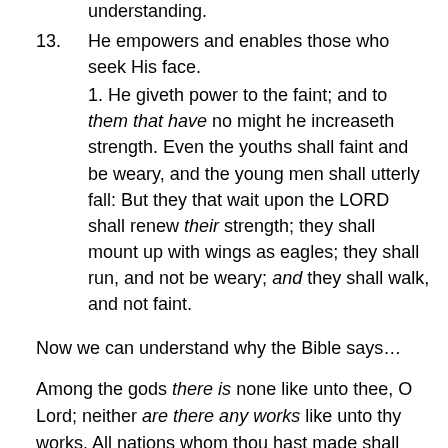understanding.
13. He empowers and enables those who seek His face.
1. He giveth power to the faint; and to them that have no might he increaseth strength. Even the youths shall faint and be weary, and the young men shall utterly fall: But they that wait upon the LORD shall renew their strength; they shall mount up with wings as eagles; they shall run, and not be weary; and they shall walk, and not faint.
Now we can understand why the Bible says…
Among the gods there is none like unto thee, O Lord; neither are there any works like unto thy works. All nations whom thou hast made shall come and worship before thee, O Lord; and shall glorify thy name. For thou art great, and doest wondrous things; thou art God alone.